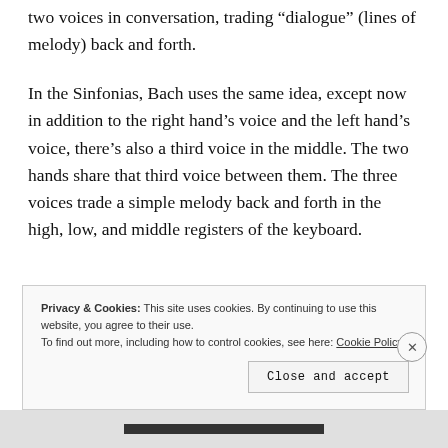two voices in conversation, trading "dialogue" (lines of melody) back and forth.
In the Sinfonias, Bach uses the same idea, except now in addition to the right hand's voice and the left hand's voice, there's also a third voice in the middle. The two hands share that third voice between them. The three voices trade a simple melody back and forth in the high, low, and middle registers of the keyboard.
Privacy & Cookies: This site uses cookies. By continuing to use this website, you agree to their use.
To find out more, including how to control cookies, see here: Cookie Policy
Close and accept